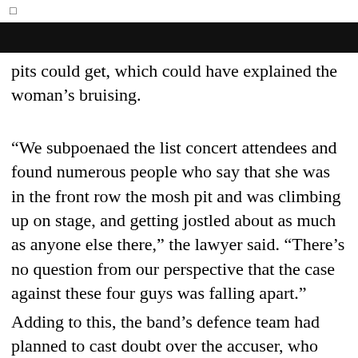pits could get, which could have explained the woman’s bruising.
“We subpoenaed the list concert attendees and found numerous people who say that she was in the front row the mosh pit and was climbing up on stage, and getting jostled about as much as anyone else there,” the lawyer said. “There’s no question from our perspective that the case against these four guys was falling apart.”
Adding to this, the band’s defence team had planned to cast doubt over the accuser, who